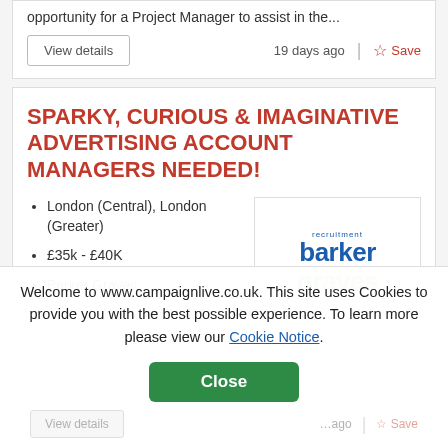opportunity for a Project Manager to assist in the...
19 days ago
SPARKY, CURIOUS & IMAGINATIVE ADVERTISING ACCOUNT MANAGERS NEEDED!
London (Central), London (Greater)
£35k - £40K
Barker Graves
[Figure (logo): Barker Graves recruitment logo — 'barker' in dark blue bold, 'recruitment' small text above, 'graves' in green bold below]
Welcome to www.campaignlive.co.uk. This site uses Cookies to provide you with the best possible experience. To learn more please view our Cookie Notice.